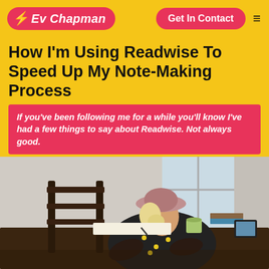Ev Chapman — Get In Contact
How I'm Using Readwise To Speed Up My Note-Making Process
If you've been following me for a while you'll know I've had a few things to say about Readwise. Not always good.
But last month I signed up and I'm ready to say I might be wrong. I'll always be outspoken on the subject of highlighting without taking notes.But if you are taking notes then Readwise can be a helpful conduit to get those notes into your PKM.
[Figure (photo): A woman with blonde hair wearing a pink hat and floral black-and-yellow jacket sits at a dark wooden desk near a window, writing in a notebook. A tablet and books are on the desk.]